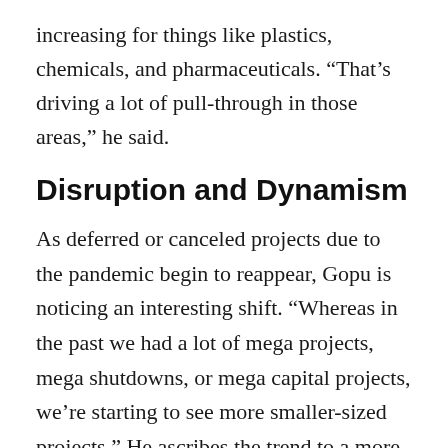increasing for things like plastics, chemicals, and pharmaceuticals. “That’s driving a lot of pull-through in those areas,” he said.
Disruption and Dynamism
As deferred or canceled projects due to the pandemic begin to reappear, Gopu is noticing an interesting shift. “Whereas in the past we had a lot of mega projects, mega shutdowns, or mega capital projects, we’re starting to see more smaller-sized projects.” He ascribes the trend to a more